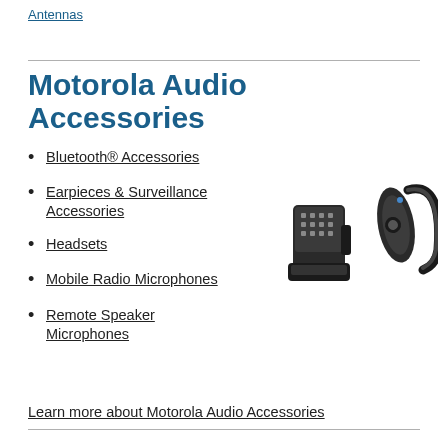Antennas
Motorola Audio Accessories
Bluetooth® Accessories
Earpieces & Surveillance Accessories
Headsets
Mobile Radio Microphones
Remote Speaker Microphones
[Figure (photo): Two Motorola audio accessories: a radio connector/earpiece adapter on the left and a Bluetooth ear clip on the right, both in black plastic.]
Learn more about Motorola Audio Accessories